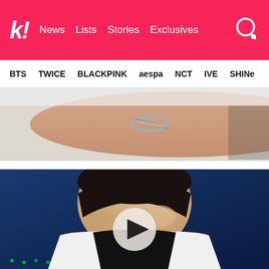k! News Lists Stories Exclusives
BTS TWICE BLACKPINK aespa NCT IVE SHINE
[Figure (photo): Close-up of a person's wrist wearing a silver bracelet, wearing a white outfit]
[Figure (photo): Close-up of a smiling young Asian man with dark hair wearing a white hoodie with black trim, with a video play button overlay, on a blue/dark stage background]